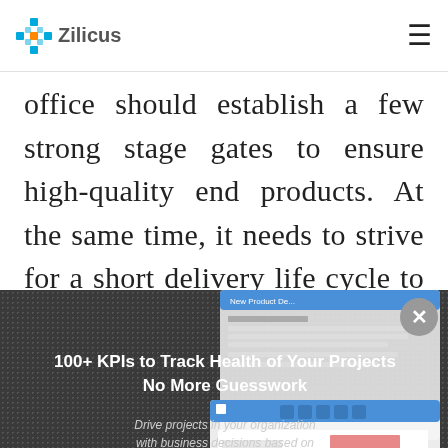Zilicus
office should establish a few strong stage gates to ensure high-quality end products. At the same time, it needs to strive for a short delivery life cycle to avoid creating waste in
[Figure (screenshot): Zilicus PM software advertisement overlay with dark dotted background showing KPI tracking dashboard screenshots. Contains headline '100+ KPIs to Track Health of Your Projects No More Guesswork', body text about driving projects with business decisions based on facts, KPIs, metrics and not gut feeling, and a CTA button 'Try ZilicusPM for Free'.]